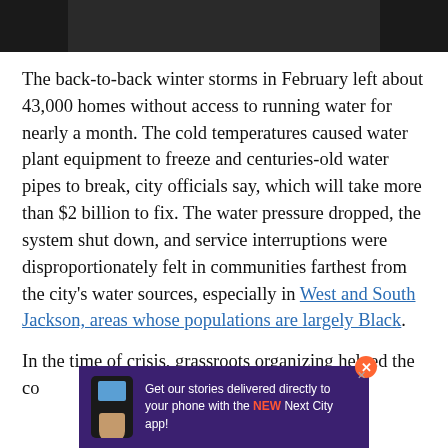[Figure (photo): Dark image at top of page, partially cropped]
The back-to-back winter storms in February left about 43,000 homes without access to running water for nearly a month. The cold temperatures caused water plant equipment to freeze and centuries-old water pipes to break, city officials say, which will take more than $2 billion to fix. The water pressure dropped, the system shut down, and service interruptions were disproportionately felt in communities farthest from the city's water sources, especially in West and South Jackson, areas whose populations are largely Black.
In the time of crisis, grassroots organizing helped the co... he local a...
[Figure (infographic): Advertisement banner: Get our stories delivered directly to your phone with the NEW Next City app!]